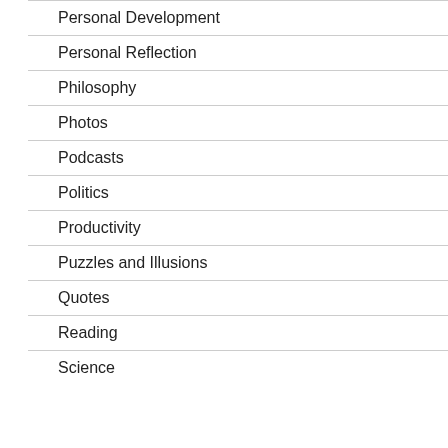Personal Development
Personal Reflection
Philosophy
Photos
Podcasts
Politics
Productivity
Puzzles and Illusions
Quotes
Reading
Science